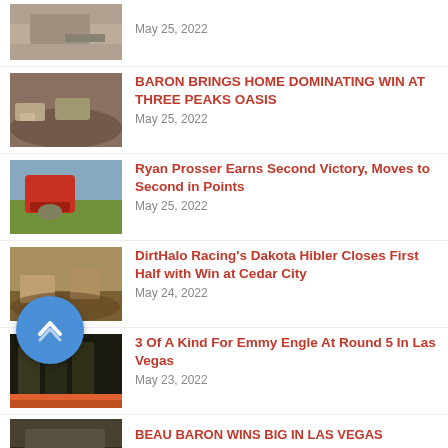[Figure (photo): Off-road vehicle racing on dirt, partial row at top]
May 25, 2022
[Figure (photo): ATVs racing on desert dirt track]
BARON BRINGS HOME DOMINATING WIN AT THREE PEAKS OASIS
May 25, 2022
[Figure (photo): Red off-road buggy airborne over terrain]
Ryan Prosser Earns Second Victory, Moves to Second in Points
May 25, 2022
[Figure (photo): ATVs racing on dusty dirt track]
DirtHalo Racing's Dakota Hibler Closes First Half with Win at Cedar City
May 24, 2022
[Figure (photo): Racing merchandise/products on display]
3 Of A Kind For Emmy Engle At Round 5 In Las Vegas
May 23, 2022
[Figure (photo): Partial article photo at bottom]
BEAU BARON WINS BIG IN LAS VEGAS